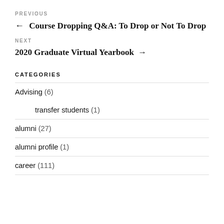PREVIOUS
← Course Dropping Q&A: To Drop or Not To Drop
NEXT
2020 Graduate Virtual Yearbook →
CATEGORIES
Advising (6)
transfer students (1)
alumni (27)
alumni profile (1)
career (111)